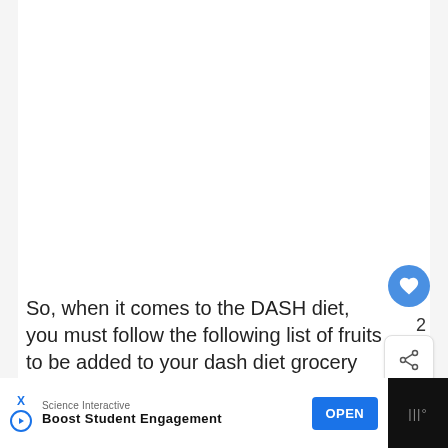So, when it comes to the DASH diet, you must follow the following list of fruits to be added to your dash diet grocery list.
apples
[Figure (screenshot): WHAT'S NEXT → DASH DIET PLAN | 1 We... promotional widget with green circular icon]
2
[Figure (screenshot): Bottom advertisement bar: Science Interactive - Boost Student Engagement - OPEN button]